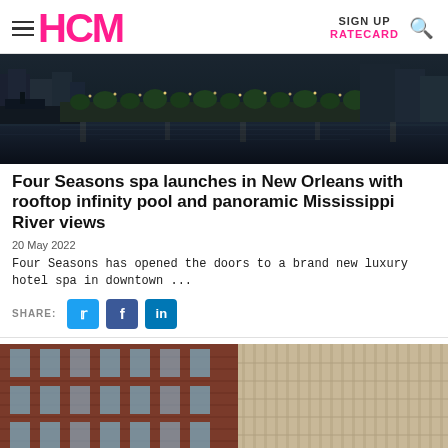HCM | SIGN UP | RATECARD
[Figure (photo): Aerial view of a waterfront city scene at dusk, showing a river, docks, and illuminated buildings along the shoreline]
Four Seasons spa launches in New Orleans with rooftop infinity pool and panoramic Mississippi River views
20 May 2022
Four Seasons has opened the doors to a brand new luxury hotel spa in downtown ...
SHARE:
[Figure (photo): Exterior facade of a modern brick and glass multi-story hotel or office building]